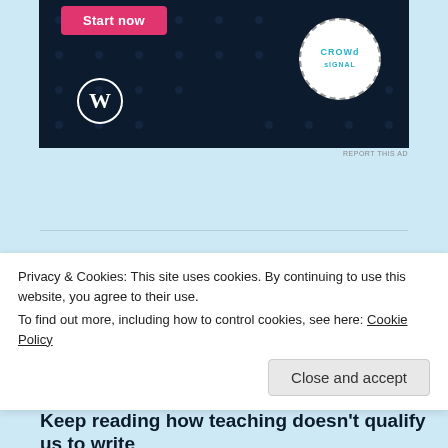[Figure (screenshot): Advertisement banner with dark navy background showing WordPress and Crowdsignal logos, with a pink 'Start now' button]
REPORT THIS AD
APRIL 12, 2019 / LEAVE A COMMENT
[Figure (illustration): Illustration of a cartoon monkey face on golden/brown background with yellow stars]
I've been interviewed! Visit The Muffin for my views on
Privacy & Cookies: This site uses cookies. By continuing to use this website, you agree to their use.
To find out more, including how to control cookies, see here: Cookie Policy
Close and accept
Keep reading how teaching doesn't qualify us to write